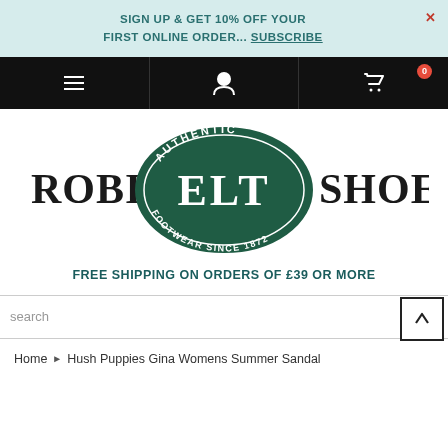SIGN UP & GET 10% OFF YOUR FIRST ONLINE ORDER... SUBSCRIBE
[Figure (logo): Robin ELT Shoes logo — dark green oval with 'AUTHENTIC' at top, 'ELT' large in centre, 'FOOTWEAR SINCE 1872' at bottom, flanked by 'ROBIN' on left and 'SHOES' on right]
FREE SHIPPING ON ORDERS OF £39 OR MORE
search
Home › Hush Puppies Gina Womens Summer Sandal